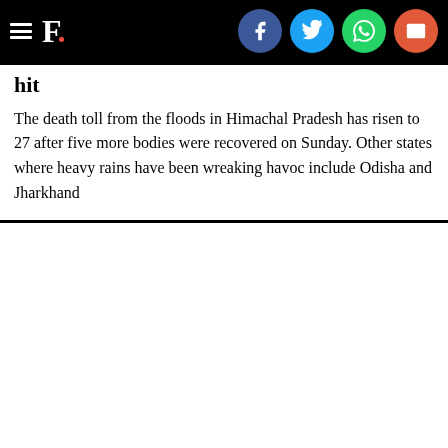F. [logo with social share icons: Facebook, Twitter, WhatsApp, Email]
hit
The death toll from the floods in Himachal Pradesh has risen to 27 after five more bodies were recovered on Sunday. Other states where heavy rains have been wreaking havoc include Odisha and Jharkhand